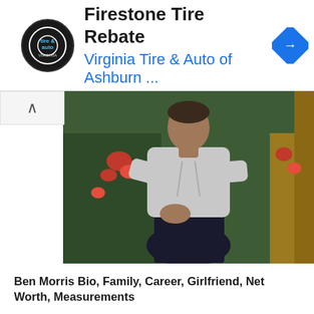[Figure (screenshot): Advertisement banner for Firestone Tire Rebate by Virginia Tire & Auto of Ashburn, with circular logo on left and blue navigation diamond icon on right]
[Figure (photo): Young man in grey hoodie and dark pants sitting outdoors with flowers/plants in background]
Ben Morris Bio, Family, Career, Girlfriend, Net Worth, Measurements
[Figure (photo): Blonde woman standing in front of a rustic wooden building]